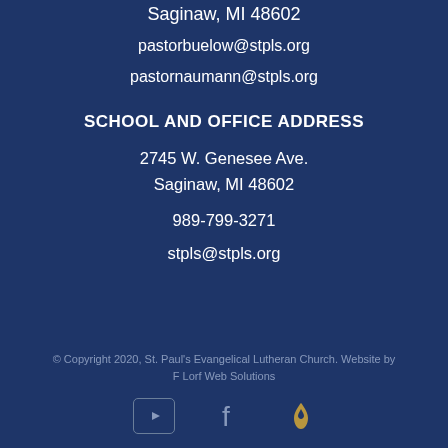Saginaw, MI 48602
pastorbuelow@stpls.org
pastornaumann@stpls.org
SCHOOL AND OFFICE ADDRESS
2745 W. Genesee Ave.
Saginaw, MI 48602
989-799-3271
stpls@stpls.org
© Copyright 2020, St. Paul's Evangelical Lutheran Church. Website by F Lorf Web Solutions
[Figure (other): Social media icons: YouTube, Facebook, and a flame/church icon]